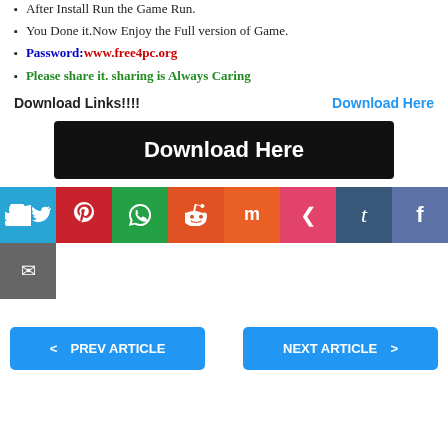After Install Run the Game Run.
You Done it.Now Enjoy the Full version of Game.
Password:www.free4pc.org
Please share it. sharing is Always Caring
Download Links!!!!    Download Here
[Figure (other): Black Download Here button]
[Figure (other): Social sharing icons row: Twitter, Pinterest, WhatsApp, Reddit, Mix, Pocket, Tumblr, Facebook, Email]
< PREV ARTICLE    NEXT ARTICLE >